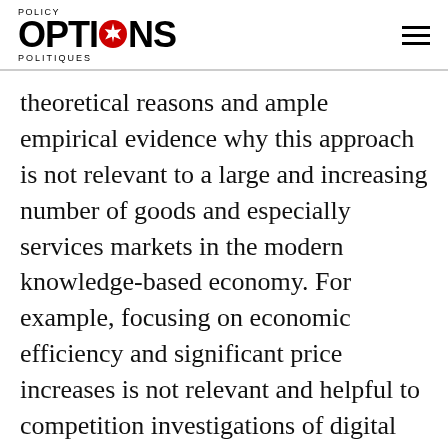POLICY OPTIONS POLITIQUES
theoretical reasons and ample empirical evidence why this approach is not relevant to a large and increasing number of goods and especially services markets in the modern knowledge-based economy. For example, focusing on economic efficiency and significant price increases is not relevant and helpful to competition investigations of digital markets, which are dominated by so-called free goods (also called zero-price goods). In those cases, the costs to consumers and citizens encompass information and attention span costs, losses of personal privacy and risks of identity